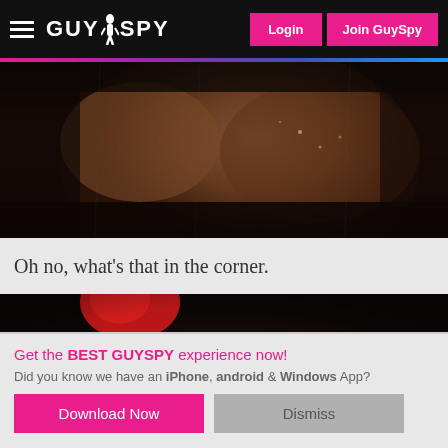GUYSPY — Login | Join GuySpy
[Figure (photo): Close-up of a person's bare upper back and shoulder in dark, moody lighting with rain or water droplets visible]
Oh no, what's that in the corner.
[Figure (photo): Silhouette of two people kissing against a dark background with a red balloon or object visible at the top]
Get the BEST GUYSPY experience now! Did you know we have an iPhone, android & Windows App?